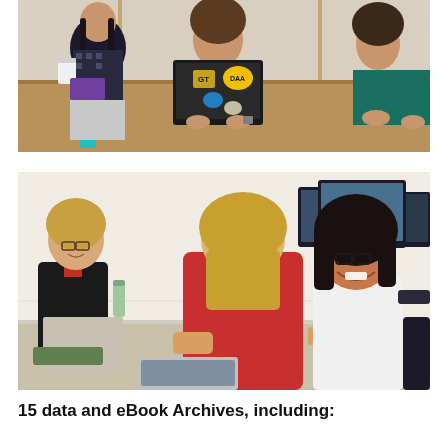[Figure (photo): Students sitting on a bench, one holding a laptop with stickers, another holding a coffee cup and purple folder, in a casual campus setting.]
[Figure (photo): Three women in a modern office or library setting with desktop computers and laptops, smiling and interacting around a table.]
15 data and eBook Archives, including: